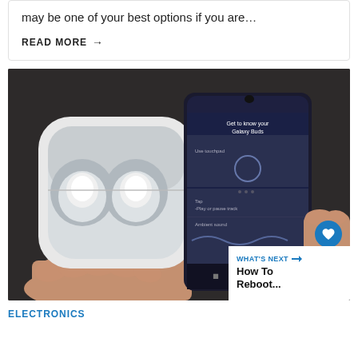may be one of your best options if you are…
READ MORE →
[Figure (photo): Hands holding Samsung Galaxy Buds in their open white charging case next to a Samsung smartphone displaying a 'Get to know your Galaxy Buds' setup screen. The phone shows options for touchpad use, ambient sound, and other features. There is a heart/like button and a share button overlaid on the image, plus a 'WHAT'S NEXT' box in the bottom right corner showing 'How To Reboot...']
ELECTRONICS